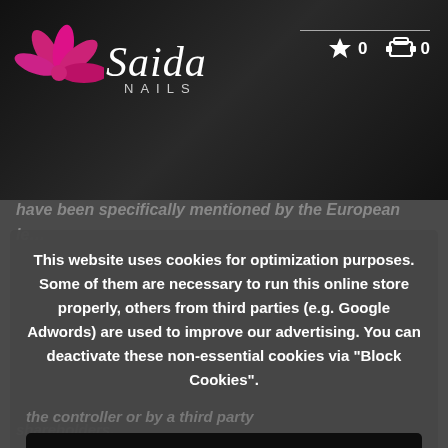[Figure (logo): Saida Nails logo with pink flower and script text on dark background]
have been specifically mentioned by the European le…
This website uses cookies for optimization purposes. Some of them are necessary to run this online store properly, others from third parties (e.g. Google Adwords) are used to improve our advertising. You can deactivate these non-essential cookies via "Block Cookies".
More Information
Accept all Cookies
Block Cookies
shareholders.